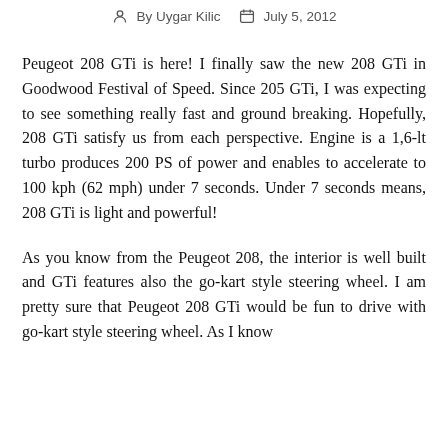By Uygar Kilic   July 5, 2012
Peugeot 208 GTi is here! I finally saw the new 208 GTi in Goodwood Festival of Speed. Since 205 GTi, I was expecting to see something really fast and ground breaking. Hopefully, 208 GTi satisfy us from each perspective. Engine is a 1,6-lt turbo produces 200 PS of power and enables to accelerate to 100 kph (62 mph) under 7 seconds. Under 7 seconds means, 208 GTi is light and powerful!
As you know from the Peugeot 208, the interior is well built and GTi features also the go-kart style steering wheel. I am pretty sure that Peugeot 208 GTi would be fun to drive with go-kart style steering wheel. As I know